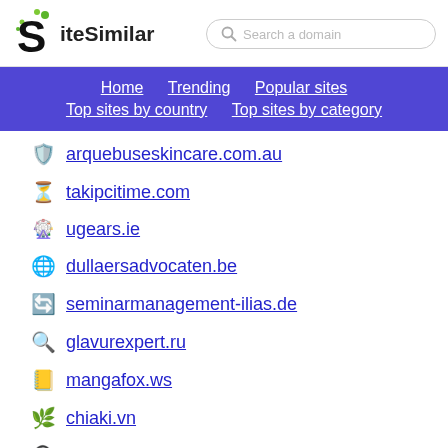SiteSimilar — Search a domain
Home | Trending | Popular sites | Top sites by country | Top sites by category
arquebuseskincare.com.au
takipcitime.com
ugears.ie
dullaersadvocaten.be
seminarmanagement-ilias.de
glavurexpert.ru
mangafox.ws
chiaki.vn
yudhacookbook.my.id